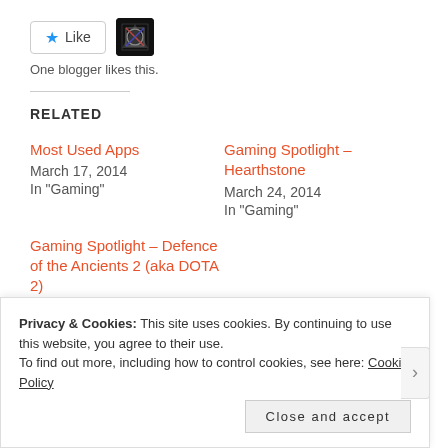[Figure (other): Like button with star icon and a user avatar image]
One blogger likes this.
RELATED
Most Used Apps
March 17, 2014
In "Gaming"
Gaming Spotlight – Hearthstone
March 24, 2014
In "Gaming"
Gaming Spotlight – Defence of the Ancients 2 (aka DOTA 2)
February 6, 2014
Privacy & Cookies: This site uses cookies. By continuing to use this website, you agree to their use.
To find out more, including how to control cookies, see here: Cookie Policy
Close and accept